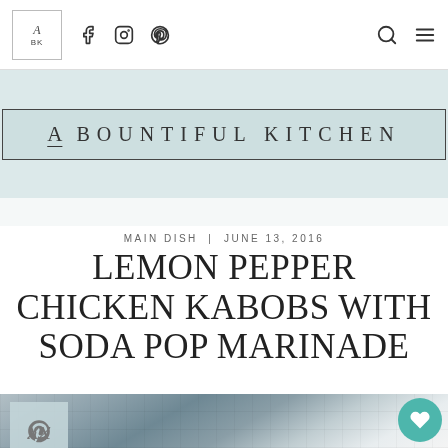A Bountiful Kitchen — navigation bar with logo, Facebook, Instagram, Pinterest icons, search and menu
A Bountiful Kitchen
MAIN DISH | JUNE 13, 2016
LEMON PEPPER CHICKEN KABOBS WITH SODA POP MARINADE
[Figure (photo): Blurred background photo of chicken kabobs on a grill pan, used as article hero image. Pinterest save button overlay on left, heart/share buttons on right.]